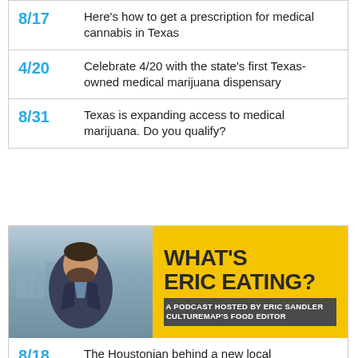8/17 Here's how to get a prescription for medical cannabis in Texas
4/20 Celebrate 4/20 with the state's first Texas-owned medical marijuana dispensary
8/31 Texas is expanding access to medical marijuana. Do you qualify?
[Figure (illustration): Podcast banner for 'What's Eric Eating?' hosted by Eric Sandler, CultureMap's Food Editor. Shows a man in a suit against a city skyline background, with yellow background text area.]
8/18 The Houstonian behind a new local Champagne brand, plus more food news